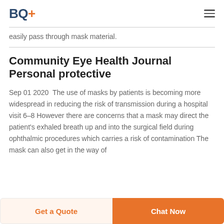BQ+
easily pass through mask material.
Community Eye Health Journal Personal protective
Sep 01 2020  The use of masks by patients is becoming more widespread in reducing the risk of transmission during a hospital visit 6–8 However there are concerns that a mask may direct the patient's exhaled breath up and into the surgical field during ophthalmic procedures which carries a risk of contamination The mask can also get in the way of